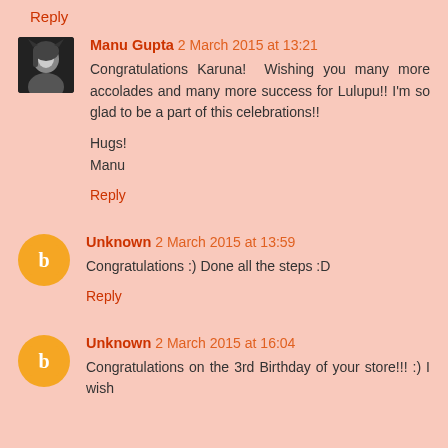Reply
Manu Gupta 2 March 2015 at 13:21
Congratulations Karuna! Wishing you many more accolades and many more success for Lulupu!! I'm so glad to be a part of this celebrations!!

Hugs!
Manu
Reply
Unknown 2 March 2015 at 13:59
Congratulations :) Done all the steps :D
Reply
Unknown 2 March 2015 at 16:04
Congratulations on the 3rd Birthday of your store!!! :) I wish